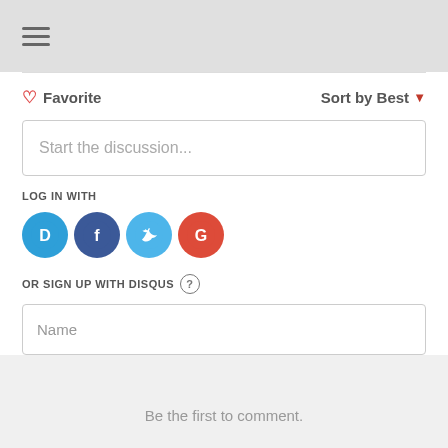[Figure (screenshot): Hamburger menu icon (three horizontal lines) in grey header bar]
Favorite
Sort by Best
Start the discussion...
LOG IN WITH
[Figure (logo): Four social login icons: Disqus (D, blue), Facebook (f, dark blue), Twitter (bird, light blue), Google (G, red)]
OR SIGN UP WITH DISQUS
Name
Be the first to comment.